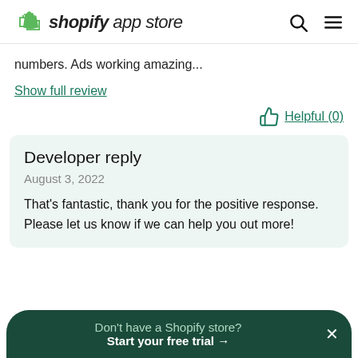shopify app store
numbers. Ads working amazing...
Show full review
Helpful (0)
Developer reply
August 3, 2022
That's fantastic, thank you for the positive response. Please let us know if we can help you out more!
Don't have a Shopify store? Start your free trial →